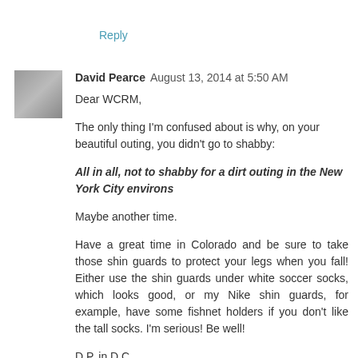Reply
David Pearce  August 13, 2014 at 5:50 AM
Dear WCRM,
The only thing I'm confused about is why, on your beautiful outing, you didn't go to shabby:
All in all, not to shabby for a dirt outing in the New York City environs
Maybe another time.
Have a great time in Colorado and be sure to take those shin guards to protect your legs when you fall! Either use the shin guards under white soccer socks, which looks good, or my Nike shin guards, for example, have some fishnet holders if you don't like the tall socks. I'm serious! Be well!
D.P. in D.C.